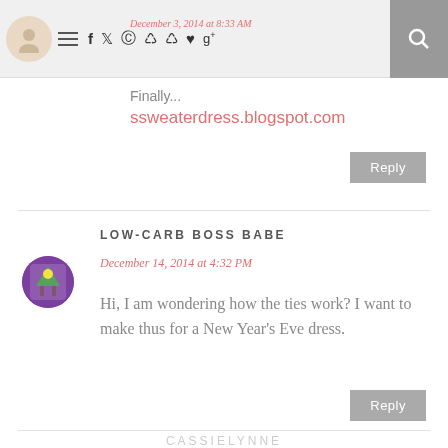Navigation bar with avatar, hamburger menu, social icons (f, twitter, instagram, pinterest, pinterest, heart, g+), and search
December 3, 2014 at 8:33 AM
Finally...
ssweaterdress.blogspot.com
Reply
LOW-CARB BOSS BABE
December 14, 2014 at 4:32 PM
Hi, I am wondering how the ties work? I want to make thus for a New Year's Eve dress.
Reply
CASSIELYNNE